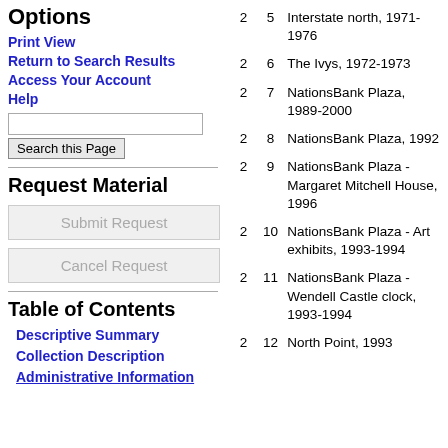Options
Print View
Return to Search Results
Access Your Account
Help
Request Material
Table of Contents
Descriptive Summary
Collection Description
Administrative Information
| Box | Folder | Title |
| --- | --- | --- |
| 2 | 5 | Interstate north, 1971-1976 |
| 2 | 6 | The Ivys, 1972-1973 |
| 2 | 7 | NationsBank Plaza, 1989-2000 |
| 2 | 8 | NationsBank Plaza, 1992 |
| 2 | 9 | NationsBank Plaza - Margaret Mitchell House, 1996 |
| 2 | 10 | NationsBank Plaza - Art exhibits, 1993-1994 |
| 2 | 11 | NationsBank Plaza - Wendell Castle clock, 1993-1994 |
| 2 | 12 | North Point, 1993 |